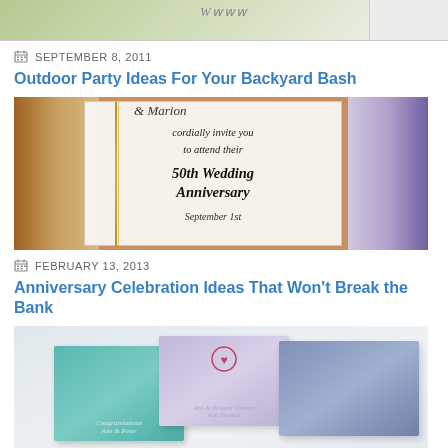[Figure (photo): Partial top image of a plant/nature scene, cropped]
SEPTEMBER 8, 2011
Outdoor Party Ideas For Your Backyard Bash
[Figure (photo): A 50th Wedding Anniversary invitation card with floral background, text reading: cordially invite you to attend their 50th Wedding Anniversary September 1...]
FEBRUARY 13, 2013
Anniversary Celebration Ideas That Won't Break the Bank
[Figure (photo): Stacked personalized napkins in teal, lavender, and blue colors with monogram/logo prints]
MARCH 24, 2011